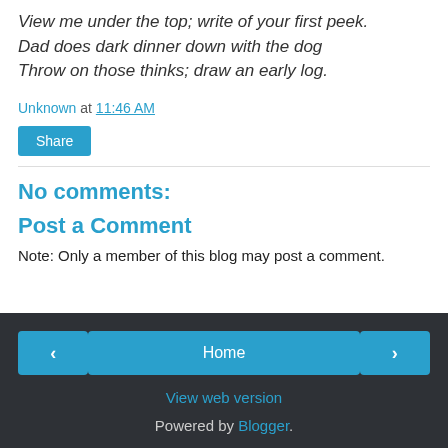View me under the top; write of your first peek.
Dad does dark dinner down with the dog
Throw on those thinks; draw an early log.
Unknown at 11:46 AM
Share
No comments:
Post a Comment
Note: Only a member of this blog may post a comment.
< Home > View web version Powered by Blogger.